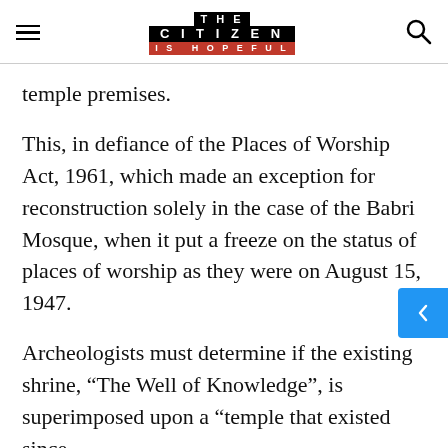THE CITIZEN IS HOPEFUL
temple premises.
This, in defiance of the Places of Worship Act, 1961, which made an exception for reconstruction solely in the case of the Babri Mosque, when it put a freeze on the status of places of worship as they were on August 15, 1947.
Archeologists must determine if the existing shrine, “The Well of Knowledge”, is superimposed upon a “temple that existed since